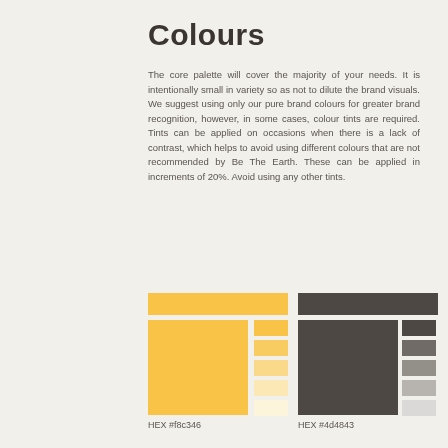Colours
The core palette will cover the majority of your needs. It is intentionally small in variety so as not to dilute the brand visuals. We suggest using only our pure brand colours for greater brand recognition, however, in some cases, colour tints are required. Tints can be applied on occasions when there is a lack of contrast, which helps to avoid using different colours that are not recommended by Be The Earth. These can be applied in increments of 20%. Avoid using any other tints.
[Figure (infographic): Two colour swatch groups: left group shows yellow (#f8c346) with a full bar, large main swatch, and 5 tint gradations from full to near-white. Right group shows dark charcoal (#4d4843) with a full bar, large main swatch, and 5 tint gradations from full to near-white.]
HEX #f8c346
HEX #4d4843